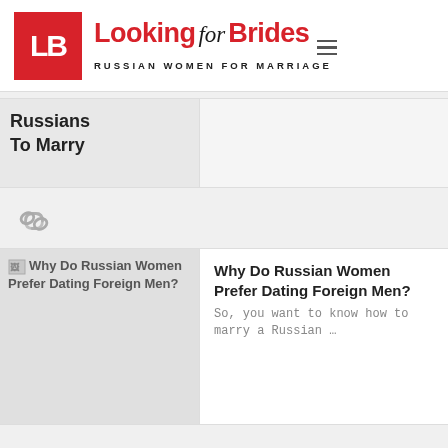[Figure (logo): LookingforBrides logo — red LB square, red and black text 'Looking for Brides', subtitle 'RUSSIAN WOMEN FOR MARRIAGE']
Russians To Marry
[Figure (other): Chain link icon]
[Figure (illustration): Broken image placeholder — Why Do Russian Women Prefer Dating Foreign Men?]
Why Do Russian Women Prefer Dating Foreign Men?
So, you want to know how to marry a Russian …
[Figure (other): Chain link icon]